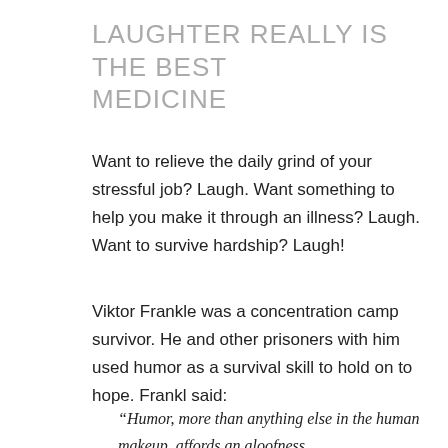LAUGHTER REALLY IS THE BEST MEDICINE
Want to relieve the daily grind of your stressful job? Laugh. Want something to help you make it through an illness? Laugh. Want to survive hardship? Laugh!
Viktor Frankle was a concentration camp survivor. He and other prisoners with him used humor as a survival skill to hold on to hope. Frankl said:
“Humor, more than anything else in the human makeup, affords an aloofness